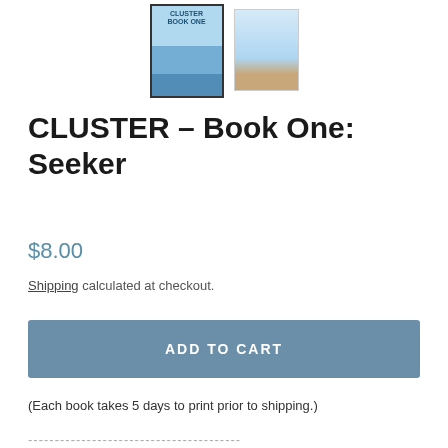[Figure (photo): Two book cover thumbnails for CLUSTER - Book One: Seeker. The left thumbnail is larger with a black border, showing a blue book cover. The right thumbnail is smaller and shows the back of the book.]
CLUSTER – Book One: Seeker
$8.00
Shipping calculated at checkout.
ADD TO CART
(Each book takes 5 days to print prior to shipping.)
----------------------------------------